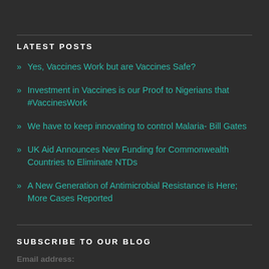LATEST POSTS
» Yes, Vaccines Work but are Vaccines Safe?
» Investment in Vaccines is our Proof to Nigerians that #VaccinesWork
» We have to keep innovating to control Malaria- Bill Gates
» UK Aid Announces New Funding for Commonwealth Countries to Eliminate NTDs
» A New Generation of Antimicrobial Resistance is Here; More Cases Reported
SUBSCRIBE TO OUR BLOG
Email address: